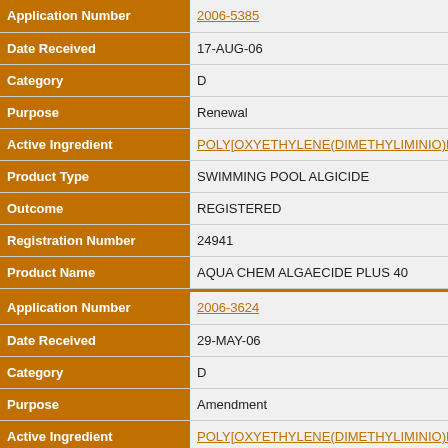| Field | Value |
| --- | --- |
| Application Number | 2006-5385 |
| Date Received | 17-AUG-06 |
| Category | D |
| Purpose | Renewal |
| Active Ingredient | POLY[OXYETHYLENE(DIMETHYLIMINIO)ETH… |
| Product Type | SWIMMING POOL ALGICIDE |
| Outcome | REGISTERED |
| Registration Number | 24941 |
| Product Name | AQUA CHEM ALGAECIDE PLUS 40 |
| Application Number | 2006-3624 |
| Date Received | 29-MAY-06 |
| Category | D |
| Purpose | Amendment |
| Active Ingredient | POLY[OXYETHYLENE(DIMETHYLIMINIO)ETH… |
| Product Type | SWIMMING POOL ALGICIDE |
| Outcome | REGISTERED |
| Registration Number | 20284 |
| Product Name | PRO-KILL LIQUID ALGAECIDE |
| Application Number | 2006-2290 |
| Date Received | 22-MAR-06 |
| Category | D |
| Purpose | New |
| Active Ingredient | POLY[OXYETHYLENE(DIMETHYLIMINIO)ETH… |